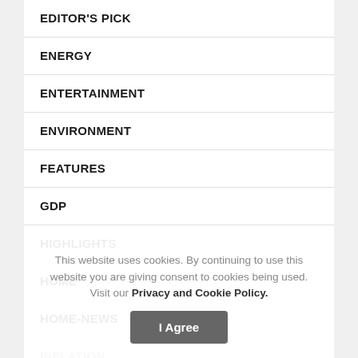EDITOR'S PICK
ENERGY
ENTERTAINMENT
ENVIRONMENT
FEATURES
GDP
HIGHLIGHTS
HOME
HOME-NEWS
INFLATION
INSURANCE
INSURANCE
This website uses cookies. By continuing to use this website you are giving consent to cookies being used. Visit our Privacy and Cookie Policy.